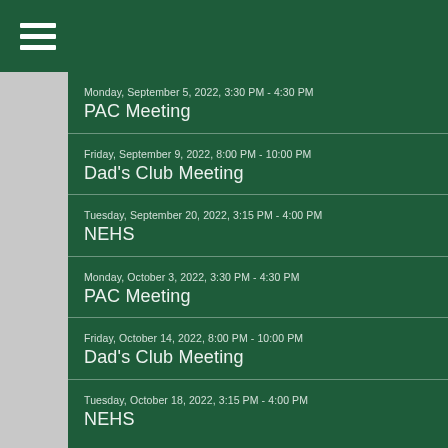≡
Monday, September 5, 2022, 3:30 PM - 4:30 PM
PAC Meeting
Friday, September 9, 2022, 8:00 PM - 10:00 PM
Dad's Club Meeting
Tuesday, September 20, 2022, 3:15 PM - 4:00 PM
NEHS
Monday, October 3, 2022, 3:30 PM - 4:30 PM
PAC Meeting
Friday, October 14, 2022, 8:00 PM - 10:00 PM
Dad's Club Meeting
Tuesday, October 18, 2022, 3:15 PM - 4:00 PM
NEHS